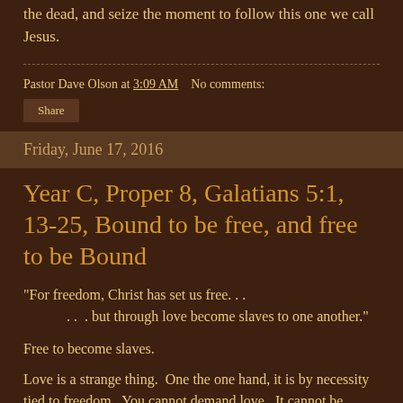the dead, and seize the moment to follow this one we call Jesus.
Pastor Dave Olson at 3:09 AM   No comments:
Share
Friday, June 17, 2016
Year C, Proper 8, Galatians 5:1, 13-25, Bound to be free, and free to be Bound
"For freedom, Christ has set us free. . .
    . .  . but through love become slaves to one another."
Free to become slaves.
Love is a strange thing.  One the one hand, it is by necessity tied to freedom.  You cannot demand love.  It cannot be